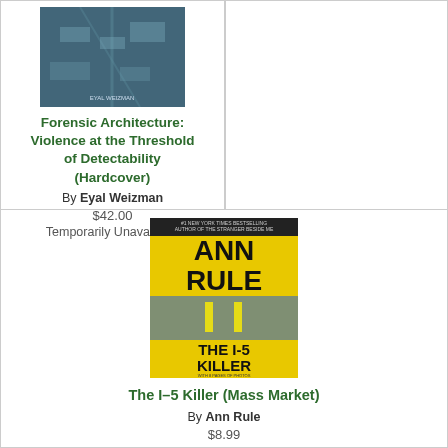[Figure (photo): Book cover for Forensic Architecture: Violence at the Threshold of Detectability]
Forensic Architecture: Violence at the Threshold of Detectability (Hardcover)
By Eyal Weizman
$42.00
Temporarily Unavailable
[Figure (photo): Book cover for The I-5 Killer (Mass Market) by Ann Rule — yellow and black cover with road image]
The I-5 Killer (Mass Market)
By Ann Rule
$8.99